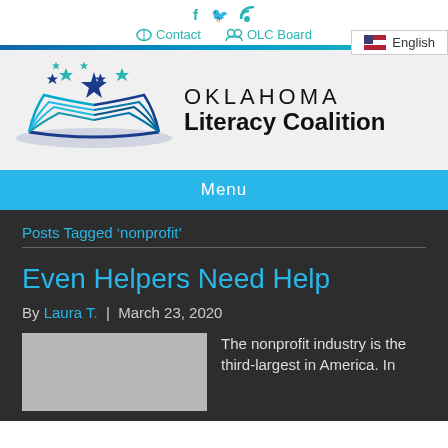f  Twitter  RSS | Contact | OLC Board
[Figure (logo): Oklahoma Literacy Coalition logo with open book and stars]
Menu
Posts Tagged ‘nonprofit’
Even Helpers Need Help
By Laura T. | March 23, 2020
The nonprofit industry is the third-largest in America. In